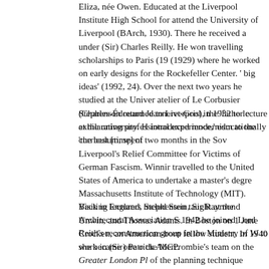Eliza, née Owen. Educated at the Liverpool Institute High School for attend the University of Liverpool (BArch, 1930). There he received a under (Sir) Charles Reilly. He won travelling scholarships to Paris (19 (1929) where he worked on early designs for the Rockefeller Center. ' big ideas' (1992, 24). Over the next two years he studied at the Univer atelier of Le Corbusier (Charles-Édouard Jeanneret-Gris), the 'father c exhilarating professional experience,' educationally 'the best [time] of
Stephenson returned to Liverpool in 1932 to lecture at the university. H introduced modernism to the curriculum, spent two months in the Sov Liverpool's Relief Committee for Victims of German Fascism. Winnir travelled to the United States of America to undertake a master's degre Massachusetts Institute of Technology (MIT). Visiting lecturers includ Stein, Sir Raymond Unwin, and Thomas Adams. In Boston on 1 June Crockett, an American-born fellow student. In 1940 she became one o the MCP.
Back in England, Stephenson taught at the Architectural Association S 1942 he joined Lord Reith's reconstruction group in the Ministry of W to work in (Sir) Patrick Abercrombie's team on the Greater London Pl of the planning technique section, Ministry of Town and Country Plan provided the key to building a just postwar society. In 1945 and 1946